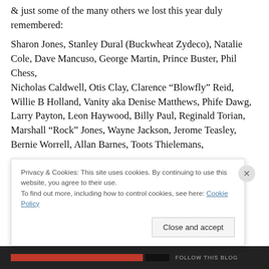& just some of the many others we lost this year duly remembered:
Sharon Jones, Stanley Dural (Buckwheat Zydeco), Natalie Cole, Dave Mancuso, George Martin, Prince Buster, Phil Chess, Nicholas Caldwell, Otis Clay, Clarence “Blowfly” Reid, Willie B Holland, Vanity aka Denise Matthews, Phife Dawg, Larry Payton, Leon Haywood, Billy Paul, Reginald Torian, Marshall “Rock” Jones, Wayne Jackson, Jerome Teasley, Bernie Worrell, Allan Barnes, Toots Thielemans,
Privacy & Cookies: This site uses cookies. By continuing to use this website, you agree to their use.
To find out more, including how to control cookies, see here: Cookie Policy